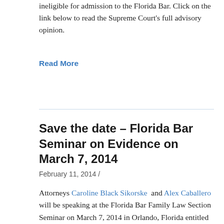ineligible for admission to the Florida Bar.  Click on the link below to read the Supreme Court's full advisory opinion.
Read More
Save the date – Florida Bar Seminar on Evidence on March 7, 2014
February 11, 2014 /
Attorneys Caroline Black Sikorske  and Alex Caballero will be speaking at the Florida Bar Family Law Section Seminar on March 7, 2014 in Orlando, Florida entitled “Evidence:  A Family Law Practitioner’s Winning Game Plan.”  Caroline will speak about how to choose, organize and present evidence.  Alex will speak on digital and electronic evidence issues.  The seminar is scheduled from 8:45 am to 4:00 pm and will have other great presenters discussing